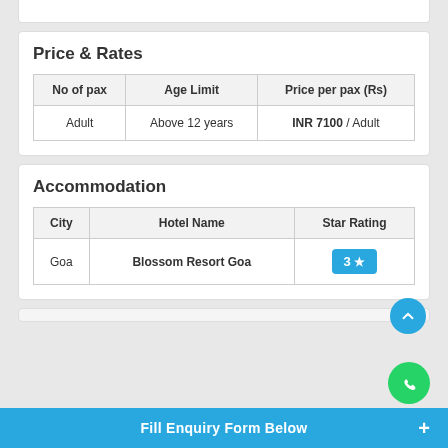Price & Rates
| No of pax | Age Limit | Price per pax (Rs) |
| --- | --- | --- |
| Adult | Above 12 years | INR 7100 / Adult |
Accommodation
| City | Hotel Name | Star Rating |
| --- | --- | --- |
| Goa | Blossom Resort Goa | 3 ★ |
Fill Enquiry Form Below +